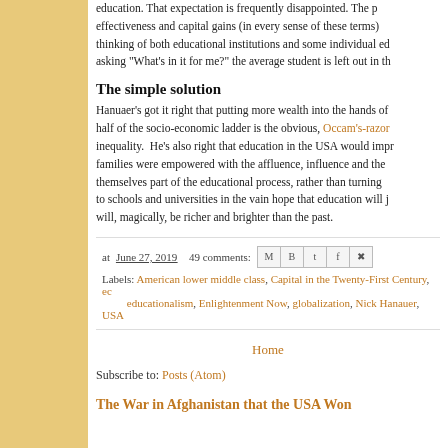education. That expectation is frequently disappointed. The pursuit of effectiveness and capital gains (in every sense of these terms) dominates the thinking of both educational institutions and some individual educators, and in asking "What's in it for me?" the average student is left out in the cold.
The simple solution
Hanuaer's got it right that putting more wealth into the hands of the bottom half of the socio-economic ladder is the obvious, Occam's-razor solution to inequality. He's also right that education in the USA would improve if families were empowered with the affluence, influence and the desire to make themselves part of the educational process, rather than turning their children to schools and universities in the vain hope that education will just, magically, be richer and brighter than the past.
at June 27, 2019   49 comments:
Labels: American lower middle class, Capital in the Twenty-First Century, educationalism, Enlightenment Now, globalization, Nick Hanauer, USA
Home
Subscribe to: Posts (Atom)
The War in Afghanistan that the USA Won